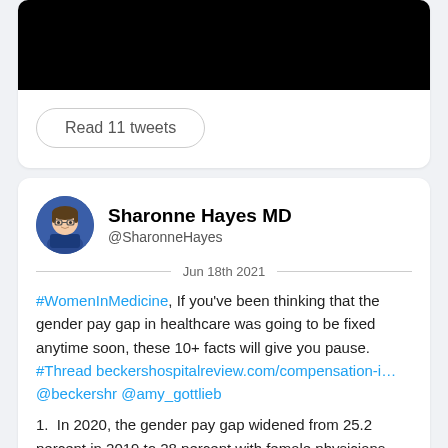[Figure (photo): Black redacted image at top of a tweet card]
Read 11 tweets
Sharonne Hayes MD
@SharonneHayes
Jun 18th 2021
#WomenInMedicine, If you've been thinking that the gender pay gap in healthcare was going to be fixed anytime soon, these 10+ facts will give you pause. #Thread beckershospitalreview.com/compensation-i… @beckershr @amy_gottlieb
1. In 2020, the gender pay gap widened from 25.2 percent in 2019 to 28 percent with female physicians earning...